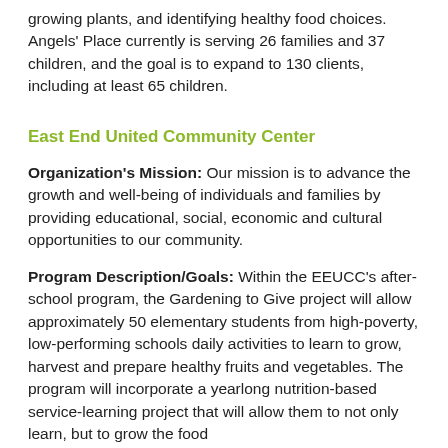growing plants, and identifying healthy food choices. Angels' Place currently is serving 26 families and 37 children, and the goal is to expand to 130 clients, including at least 65 children.
East End United Community Center
Organization's Mission:  Our mission is to advance the growth and well-being of individuals and families by providing educational, social, economic and cultural opportunities to our community.
Program Description/Goals:  Within the EEUCC's after-school program, the Gardening to Give project will allow approximately 50 elementary students from high-poverty, low-performing schools daily activities to learn to grow, harvest and prepare healthy fruits and vegetables.  The program will incorporate a yearlong nutrition-based service-learning project that will allow them to not only learn, but to grow the food